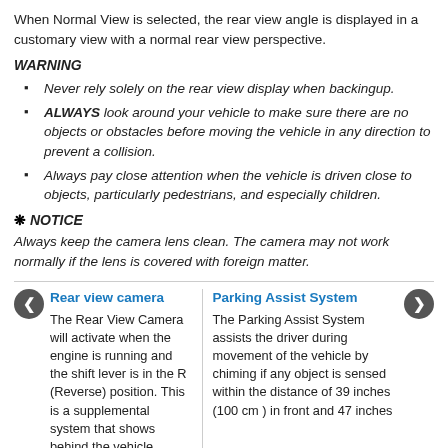When Normal View is selected, the rear view angle is displayed in a customary view with a normal rear view perspective.
WARNING
Never rely solely on the rear view display when backingup.
ALWAYS look around your vehicle to make sure there are no objects or obstacles before moving the vehicle in any direction to prevent a collision.
Always pay close attention when the vehicle is driven close to objects, particularly pedestrians, and especially children.
❋ NOTICE
Always keep the camera lens clean. The camera may not work normally if the lens is covered with foreign matter.
Rear view camera — The Rear View Camera will activate when the engine is running and the shift lever is in the R (Reverse) position. This is a supplemental system that shows behind the vehicle through the n ...
Parking Assist System — The Parking Assist System assists the driver during movement of the vehicle by chiming if any object is sensed within the distance of 39 inches (100 cm ) in front and 47 inches